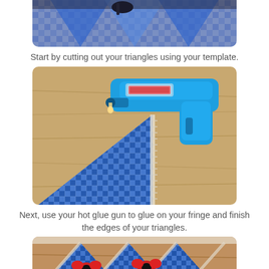[Figure (photo): Top partial photo showing blue gingham fabric with scissors on a dark surface, cut off at top]
Start by cutting out your triangles using your template.
[Figure (photo): Photo of a blue glue gun applying glue to white fringe trim on a blue gingham fabric triangle on a wooden surface]
Next, use your hot glue gun to glue on your fringe and finish the edges of your triangles.
[Figure (photo): Photo of completed blue gingham fabric triangles with white fringe trim and red/black decorative shapes laid out on a wooden surface, partially visible]